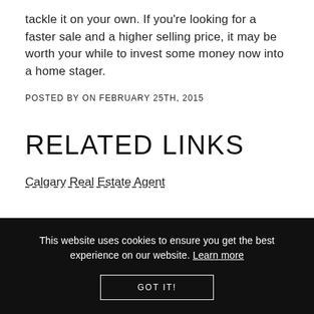tackle it on your own. If you're looking for a faster sale and a higher selling price, it may be worth your while to invest some money now into a home stager.
POSTED BY ON FEBRUARY 25TH, 2015
RELATED LINKS
Calgary Real Estate Agent
This website uses cookies to ensure you get the best experience on our website. Learn more
GOT IT!